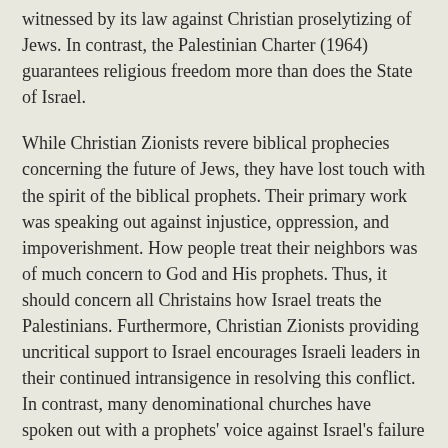witnessed by its law against Christian proselytizing of Jews. In contrast, the Palestinian Charter (1964) guarantees religious freedom more than does the State of Israel.
While Christian Zionists revere biblical prophecies concerning the future of Jews, they have lost touch with the spirit of the biblical prophets. Their primary work was speaking out against injustice, oppression, and impoverishment. How people treat their neighbors was of much concern to God and His prophets. Thus, it should concern all Christains how Israel treats the Palestinians. Furthermore, Christian Zionists providing uncritical support to Israel encourages Israeli leaders in their continued intransigence in resolving this conflict. In contrast, many denominational churches have spoken out with a prophets' voice against Israel's failure to recognize the same rights for the Palestinians as for the Jews.
Chapter 10: A New Proposal
Most of the proposals thus far offered for resolving the Palestinian-Israeli conflict have focused on giving the Palestinians the separated territories of the West Bank and